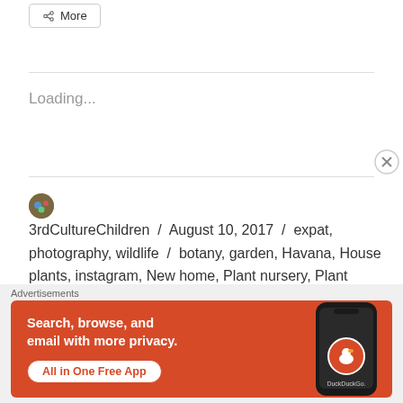More
Loading...
3rdCultureChildren / August 10, 2017 / expat, photography, wildlife / botany, garden, Havana, House plants, instagram, New home, Plant nursery, Plant photography, Plants, Travel Blog / Leave a comment
[Figure (other): DuckDuckGo advertisement banner with orange background. Text: 'Search, browse, and email with more privacy. All in One Free App' with DuckDuckGo logo and phone mockup.]